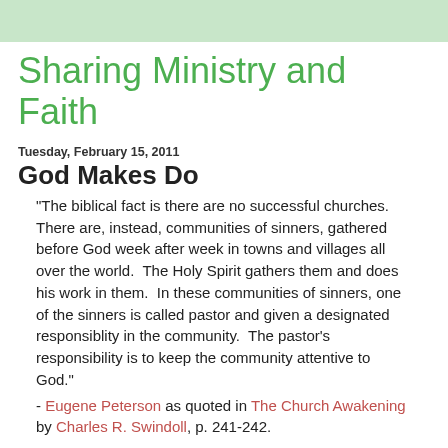Sharing Ministry and Faith
Tuesday, February 15, 2011
God Makes Do
"The biblical fact is there are no successful churches.  There are, instead, communities of sinners, gathered before God week after week in towns and villages all over the world.  The Holy Spirit gathers them and does his work in them.  In these communities of sinners, one of the sinners is called pastor and given a designated responsiblity in the community.  The pastor's responsibility is to keep the community attentive to God."
- Eugene Peterson as quoted in The Church Awakening by Charles R. Swindoll, p. 241-242.